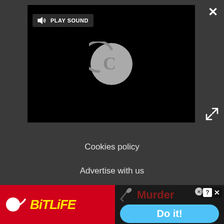[Figure (screenshot): Video player area with black background, PLAY SOUND button with speaker icon, loading circle spinner]
Cookies policy
Advertise with us
Accessibility Statement
Careers
Do not sell my info
[Figure (screenshot): BitLife advertisement banner with red background, yellow italic BitLife logo with sperm icon on left, and Murder/Do it! game ad on right side]